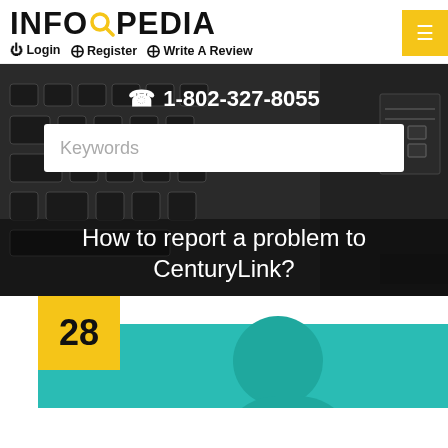INFOPEDIA
Login   Register   Write A Review
1-802-327-8055
Keywords
How to report a problem to CenturyLink?
[Figure (screenshot): Screenshot of Infopedia website homepage showing logo, navigation links (Login, Register, Write A Review), a phone number (1-802-327-8055), a keyword search box, and an article title 'How to report a problem to CenturyLink?' over a dark keyboard background image. Below is a teal banner with a number badge showing 28.]
28